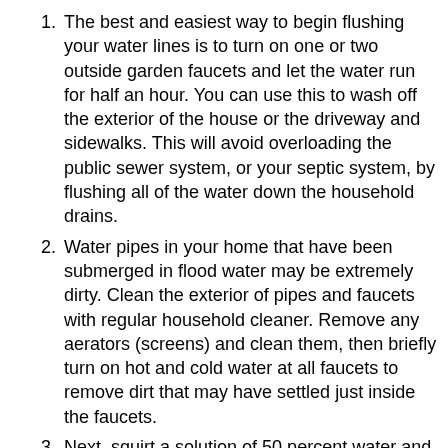The best and easiest way to begin flushing your water lines is to turn on one or two outside garden faucets and let the water run for half an hour. You can use this to wash off the exterior of the house or the driveway and sidewalks. This will avoid overloading the public sewer system, or your septic system, by flushing all of the water down the household drains.
Water pipes in your home that have been submerged in flood water may be extremely dirty. Clean the exterior of pipes and faucets with regular household cleaner. Remove any aerators (screens) and clean them, then briefly turn on hot and cold water at all faucets to remove dirt that may have settled just inside the faucets.
Next, squirt a solution of 50 percent water and 50 percent household bleach into the faucets. Then flush all water pipes as described in Step 4. Never mix bleach with a household cleaner containing ammonia. The mixture can create a deadly chlorine